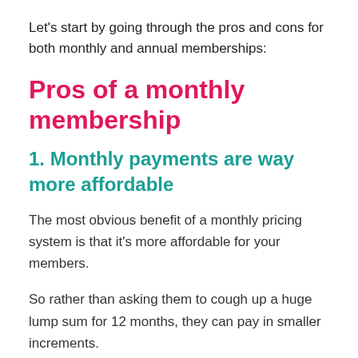Let's start by going through the pros and cons for both monthly and annual memberships:
Pros of a monthly membership
1. Monthly payments are way more affordable
The most obvious benefit of a monthly pricing system is that it's more affordable for your members.
So rather than asking them to cough up a huge lump sum for 12 months, they can pay in smaller increments.